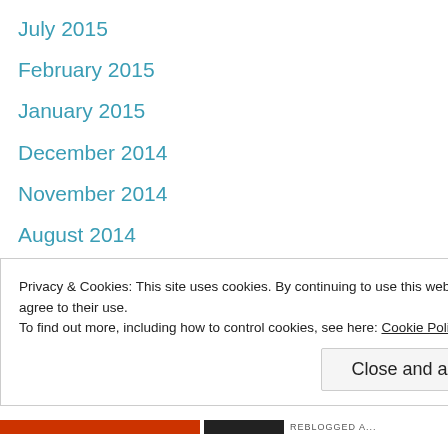July 2015
February 2015
January 2015
December 2014
November 2014
August 2014
May 2014
April 2014
March 2014
February 2014
Privacy & Cookies: This site uses cookies. By continuing to use this website, you agree to their use.
To find out more, including how to control cookies, see here: Cookie Policy
Close and accept